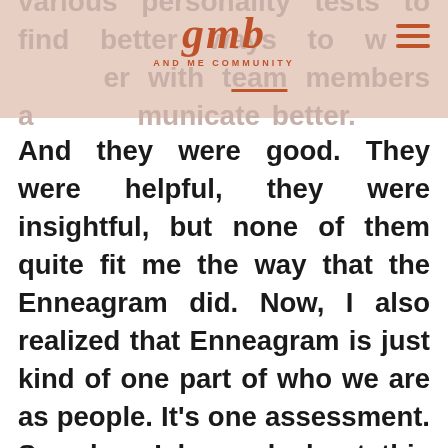various personality tests to find better ways to work together with team members and communicate better.
[Figure (logo): GMB logo in orange italic serif font with 'AND ME COMMUNITY' subtitle text below]
And they were good. They were helpful, they were insightful, but none of them quite fit me the way that the Enneagram did. Now, I also realized that Enneagram is just kind of one part of who we are as people. It's one assessment. So when I learned about this other sort of diagram of who we are, the human design, my interest was piqued. I was like, I would love to